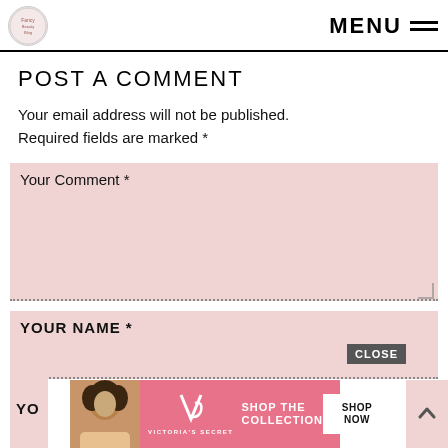MENU
POST A COMMENT
Your email address will not be published. Required fields are marked *
Your Comment *
YOUR NAME *
YO
[Figure (infographic): Victoria's Secret advertisement banner with model, VS logo, 'SHOP THE COLLECTION' text, 'SHOP NOW' button, and 'CLOSE' button overlay at bottom of page.]